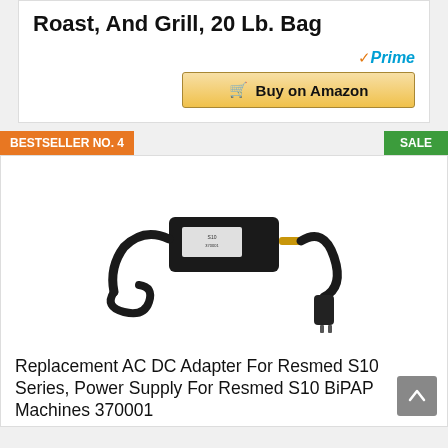Roast, And Grill, 20 Lb. Bag
[Figure (logo): Amazon Prime badge with checkmark and 'Prime' in blue italic text]
Buy on Amazon
BESTSELLER NO. 4
SALE
[Figure (photo): AC DC power adapter with cable and power cord for Resmed S10 Series]
Replacement AC DC Adapter For Resmed S10 Series, Power Supply For Resmed S10 BiPAP Machines 370001